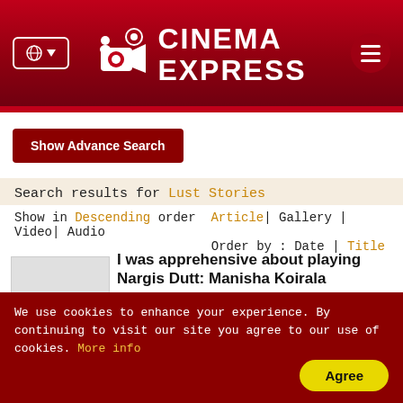[Figure (logo): Cinema Express website header with red gradient background, globe/language button on left, Cinema Express logo with film reel icon in center, hamburger menu button on right]
Show Advance Search
Search results for Lust Stories
Show in Descending order  Article| Gallery | Video| Audio
Order by : Date | Title
I was apprehensive about playing Nargis Dutt: Manisha Koirala
The actor opens up on her role in Sanju, and a
We use cookies to enhance your experience. By continuing to visit our site you agree to our use of cookies. More info